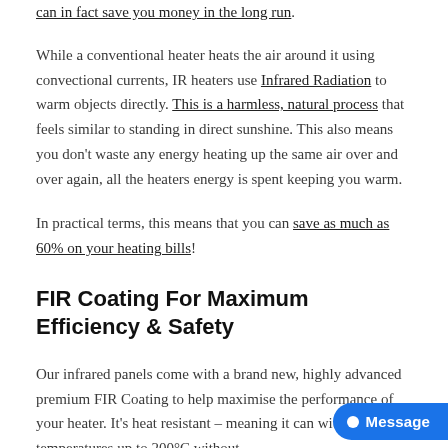can in fact save you money in the long run.
While a conventional heater heats the air around it using convectional currents, IR heaters use Infrared Radiation to warm objects directly. This is a harmless, natural process that feels similar to standing in direct sunshine. This also means you don't waste any energy heating up the same air over and over again, all the heaters energy is spent keeping you warm.
In practical terms, this means that you can save as much as 60% on your heating bills!
FIR Coating For Maximum Efficiency & Safety
Our infrared panels come with a brand new, highly advanced premium FIR Coating to help maximise the performance of your heater. It's heat resistant – meaning it can withstand temperatures up to 200°C without